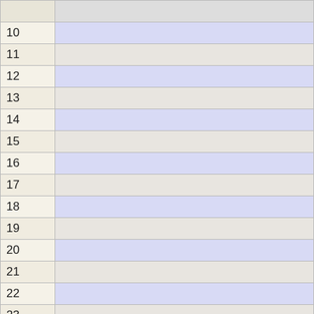| # | Event |
| --- | --- |
| 9 |  |
| 10 |  |
| 11 |  |
| 12 |  |
| 13 |  |
| 14 |  |
| 15 |  |
| 16 |  |
| 17 |  |
| 18 |  |
| 19 |  |
| 20 |  |
| 21 |  |
| 22 |  |
| 23 |  |
[Monthly] [Daily] [Simple]  [Upcoming] [List] [Today]
Organising Events